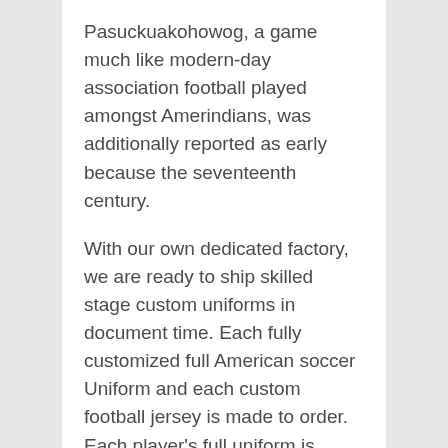Pasuckuakohowog, a game much like modern-day association football played amongst Amerindians, was additionally reported as early because the seventeenth century.
With our own dedicated factory, we are ready to ship skilled stage custom uniforms in document time. Each fully customized full American soccer Uniform and each custom football jersey is made to order. Each player's full uniform is printed, reduce out, and sewn collectively by an incredibly talented staff assuring the highest high quality is achieved with each piece.